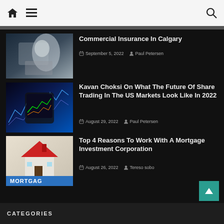Navigation bar with home, menu, and search icons
[Figure (photo): Woman with headset working on laptop in office with city skyline background]
Commercial Insurance In Calgary
September 5, 2022   Paul Petersen
[Figure (photo): Hand holding smartphone showing financial/stock trading charts with blue graph background]
Kavan Choksi On What The Future Of Share Trading In The US Markets Look Like In 2022
August 29, 2022   Paul Petersen
[Figure (photo): Miniature house model with red roof above teal MORTGAGE text]
Top 4 Reasons To Work With A Mortgage Investment Corporation
August 26, 2022   Tereso sobo
CATEGORIES